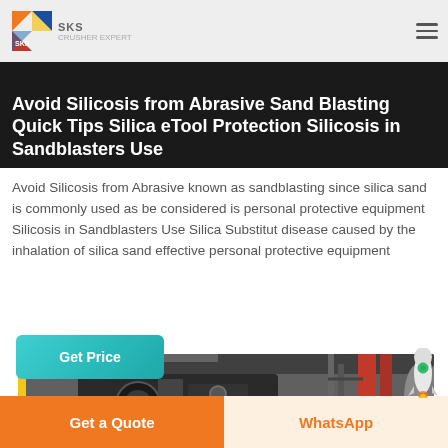SKS
Avoid Silicosis from Abrasive Sand Blasting Quick Tips Silica eTool Protection Silicosis in Sandblasters Use
Avoid Silicosis from Abrasive known as sandblasting since silica sand is commonly used as be considered is personal protective equipment Silicosis in Sandblasters Use Silica Substitut disease caused by the inhalation of silica sand effective personal protective equipment
[Figure (screenshot): Teal/cyan gradient 'Get Price' button]
[Figure (photo): Industrial sandblasting machine in a factory/warehouse setting with heavy machinery, red metal structures, and large metal containers in background]
Get a Quote   WhatsApp